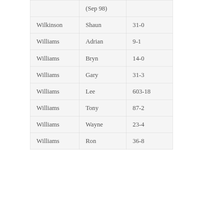| Last Name | First Name | Score |
| --- | --- | --- |
|  | (Sep 98) |  |
| Wilkinson | Shaun | 31-0 |
| Williams | Adrian | 9-1 |
| Williams | Bryn | 14-0 |
| Williams | Gary | 31-3 |
| Williams | Lee | 603-18 |
| Williams | Tony | 87-2 |
| Williams | Wayne | 23-4 |
| Williams | Ron | 36-8 |